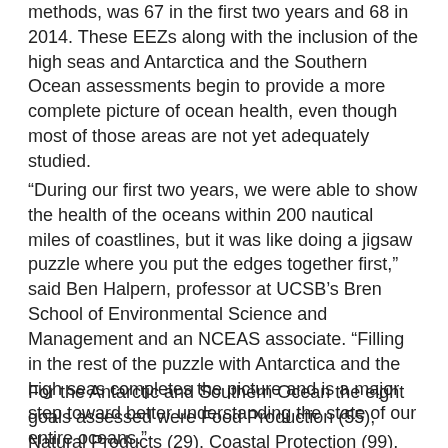methods, was 67 in the first two years and 68 in 2014. These EEZs along with the inclusion of the high seas and Antarctica and the Southern Ocean assessments begin to provide a more complete picture of ocean health, even though most of those areas are not yet adequately studied.
“During our first two years, we were able to show the health of the oceans within 200 nautical miles of coastlines, but it was like doing a jigsaw puzzle where you put the edges together first,” said Ben Halpern, professor at UCSB’s Bren School of Environmental Science and Management and an NCEAS associate. “Filling in the rest of the puzzle with Antarctica and the high seas completes the picture and is a major step toward better understanding the state of our entire oceans.”
For the Antarctic and Southern Ocean the eight goals assessed were Food Production (55), Natural Products (29), Coastal Protection (99), Economies and Livelihoods (83),